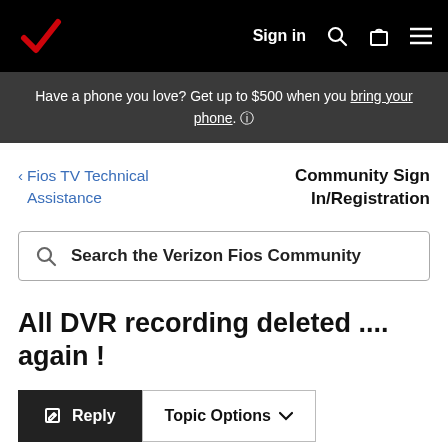Verizon navigation bar with logo, Sign in, search, bag, and menu icons
Have a phone you love? Get up to $500 when you bring your phone. ℹ
< Fios TV Technical Assistance
Community Sign In/Registration
Search the Verizon Fios Community
All DVR recording deleted .... again !
Reply   Topic Options